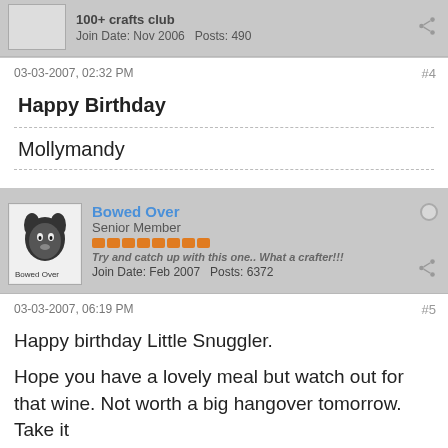100+ crafts club
Join Date: Nov 2006   Posts: 490
03-03-2007, 02:32 PM
#4
Happy Birthday
Mollymandy
Bowed Over
Senior Member
Try and catch up with this one.. What a crafter!!!
Join Date: Feb 2007   Posts: 6372
03-03-2007, 06:19 PM
#5
Happy birthday Little Snuggler.
Hope you have a lovely meal but watch out for that wine. Not worth a big hangover tomorrow. Take it